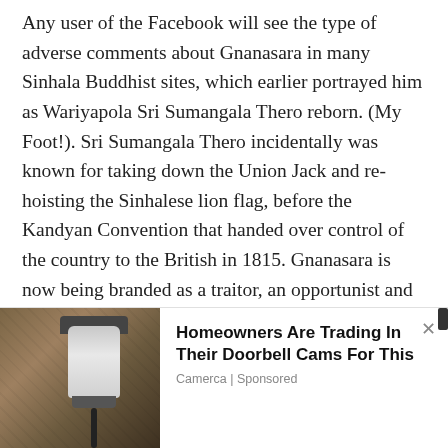Any user of the Facebook will see the type of adverse comments about Gnanasara in many Sinhala Buddhist sites, which earlier portrayed him as Wariyapola Sri Sumangala Thero reborn. (My Foot!). Sri Sumangala Thero incidentally was known for taking down the Union Jack and re-hoisting the Sinhalese lion flag, before the Kandyan Convention that handed over control of the country to the British in 1815. Gnanasara is now being branded as a traitor, an opportunist and a mere fox in sheep's clothing by many of his earlier Sinhala Buddhist followers, judging from
[Figure (photo): Photo of a wall-mounted security camera or lamp fixture on a stone/textured wall, shown in the bottom-left corner of an advertisement banner.]
Homeowners Are Trading In Their Doorbell Cams For This
Camerca | Sponsored